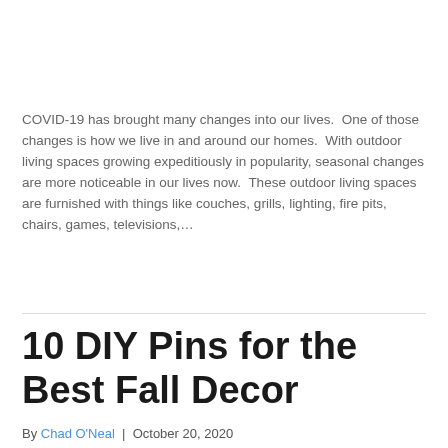COVID-19 has brought many changes into our lives.  One of those changes is how we live in and around our homes.  With outdoor living spaces growing expeditiously in popularity, seasonal changes are more noticeable in our lives now.  These outdoor living spaces are furnished with things like couches, grills, lighting, fire pits, chairs, games, televisions,…
Read More
10 DIY Pins for the Best Fall Decor
By Chad O'Neal | October 20, 2020